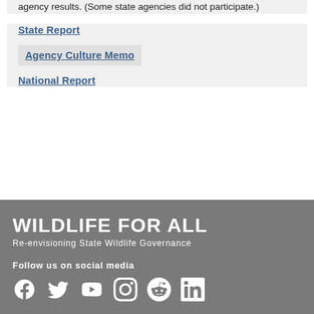agency results. (Some state agencies did not participate.)
State Report
Agency Culture Memo
National Report
WILDLIFE FOR ALL
Re-envisioning State Wildlife Governance
Follow us on social media
[Figure (infographic): Social media icons: Facebook, Twitter, YouTube, Instagram, Reddit, LinkedIn]